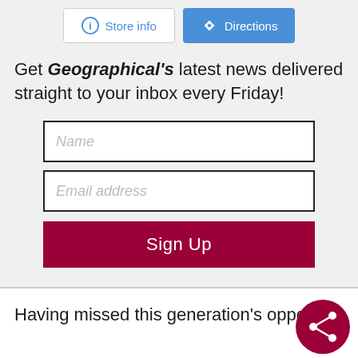[Figure (screenshot): Two buttons: 'Store info' (white with blue border, blue info icon) and 'Directions' (blue background, white text with direction icon)]
Get Geographical's latest news delivered straight to your inbox every Friday!
[Figure (infographic): Newsletter signup form with Name input field, Email address input field, and a dark red Sign Up button]
Having missed this generation's opportuni…